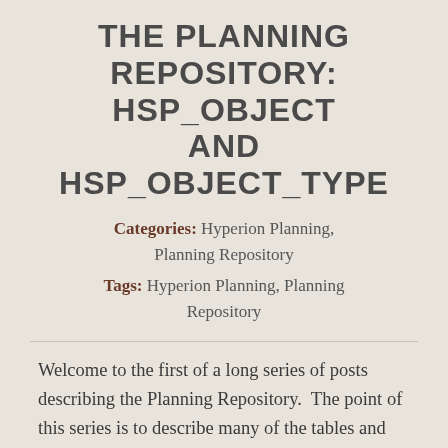THE PLANNING REPOSITORY: HSP_OBJECT AND HSP_OBJECT_TYPE
Categories: Hyperion Planning, Planning Repository
Tags: Hyperion Planning, Planning Repository
Welcome to the first of a long series of posts describing the Planning Repository.  The point of this series is to describe many of the tables and their purpose inside of the relational repository that supports your Hyperion